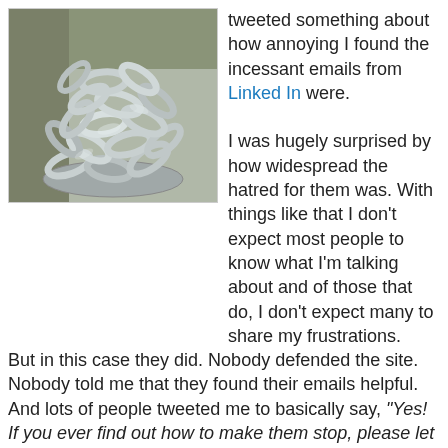[Figure (photo): Photo of a pile of metal chains, silver/chrome colored, stacked on each other.]
tweeted something about how annoying I found the incessant emails from Linked In were.

I was hugely surprised by how widespread the hatred for them was. With things like that I don't expect most people to know what I'm talking about and of those that do, I don't expect many to share my frustrations.
But in this case they did. Nobody defended the site. Nobody told me that they found their emails helpful. And lots of people tweeted me to basically say, "Yes! If you ever find out how to make them stop, please let me know how you did it!"
Well I have made them stop... so I figured it was worth posting something here about it. As much as anything, it'll be easier to point people here in future than it will to explain